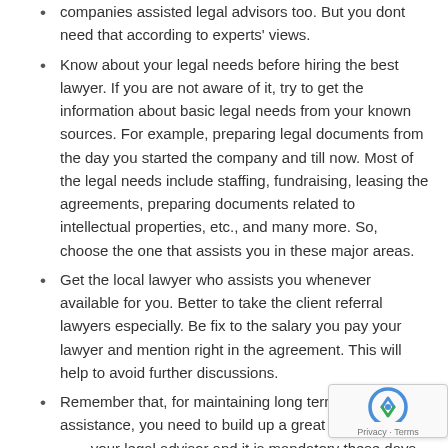companies assisted legal advisors too. But you dont need that according to experts' views.
Know about your legal needs before hiring the best lawyer. If you are not aware of it, try to get the information about basic legal needs from your known sources. For example, preparing legal documents from the day you started the company and till now. Most of the legal needs include staffing, fundraising, leasing the agreements, preparing documents related to intellectual properties, etc., and many more. So, choose the one that assists you in these major areas.
Get the local lawyer who assists you whenever available for you. Better to take the client referral lawyers especially. Be fix to the salary you pay your lawyer and mention right in the agreement. This will help to avoid further discussions.
Remember that, for maintaining long term legal assistance, you need to build up a great association your legal advisor and it is mandatory these days. Some